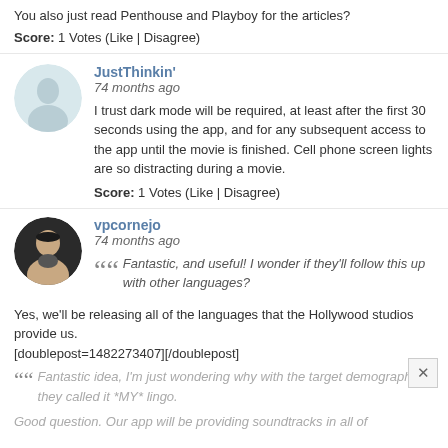You also just read Penthouse and Playboy for the articles?
Score: 1 Votes (Like | Disagree)
JustThinkin'
74 months ago
I trust dark mode will be required, at least after the first 30 seconds using the app, and for any subsequent access to the app until the movie is finished. Cell phone screen lights are so distracting during a movie.
Score: 1 Votes (Like | Disagree)
vpcornejo
74 months ago
Fantastic, and useful! I wonder if they'll follow this up with other languages?
Yes, we'll be releasing all of the languages that the Hollywood studios provide us.
[doublepost=1482273407][/doublepost]
Fantastic idea, I'm just wondering why with the target demographic they called it *MY* lingo.
Good question. Our app will be providing soundtracks in all of